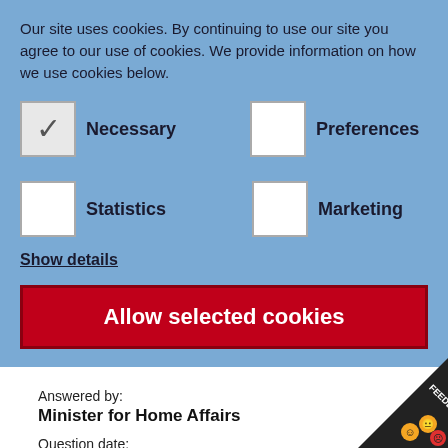Our site uses cookies. By continuing to use our site you agree to our use of cookies. We provide information on how we use cookies below.
Necessary (checked)
Preferences (unchecked)
Statistics (unchecked)
Marketing (unchecked)
Show details
Allow selected cookies
Answered by:
Minister for Home Affairs
Question date:
01/12/2009